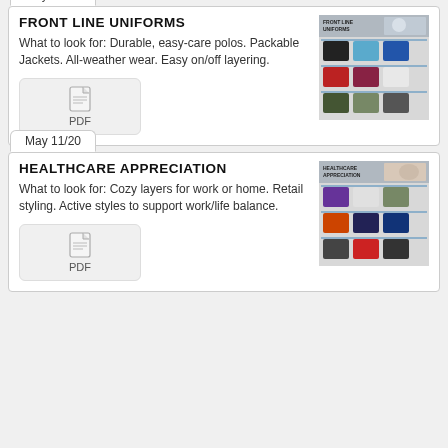May 11/20
FRONT LINE UNIFORMS
What to look for: Durable, easy-care polos. Packable Jackets. All-weather wear. Easy on/off layering.
[Figure (screenshot): Front Line Uniforms product catalog thumbnail showing various polo and jacket styles in multiple colors]
May 11/20
HEALTHCARE APPRECIATION
What to look for: Cozy layers for work or home. Retail styling. Active styles to support work/life balance.
[Figure (screenshot): Healthcare Appreciation product catalog thumbnail showing various sweatshirts and jacket styles in multiple colors]